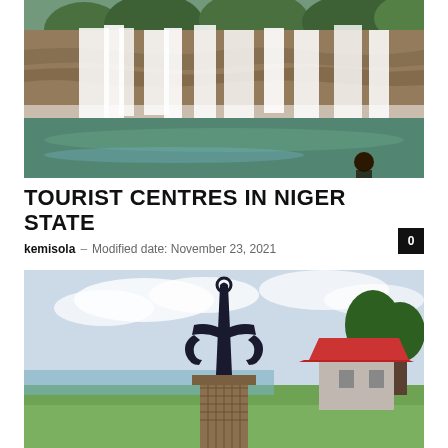[Figure (photo): Waterfall cascading over rocky cliff into a green pool, with trees visible in the background]
TOURIST CENTRES IN NIGER STATE
kemisola  –  Modified date: November 23, 2021
[Figure (photo): A large anchor monument on a tall tiled pedestal with a small building with a red roof and a body of water in the background]